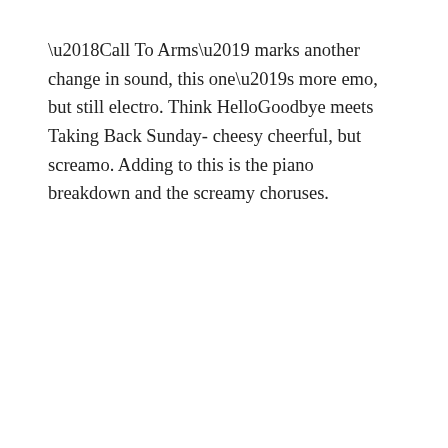‘Call To Arms’ marks another change in sound, this one’s more emo, but still electro. Think HelloGoodbye meets Taking Back Sunday- cheesy cheerful, but screamo. Adding to this is the piano breakdown and the screamy choruses.